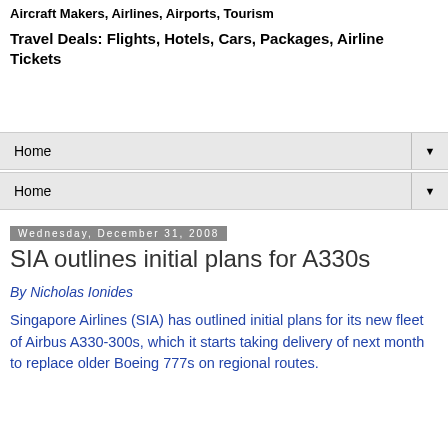Aircraft Makers, Airlines, Airports, Tourism
Travel Deals: Flights, Hotels, Cars, Packages, Airline Tickets
Home
Home
Wednesday, December 31, 2008
SIA outlines initial plans for A330s
By Nicholas Ionides
Singapore Airlines (SIA) has outlined initial plans for its new fleet of Airbus A330-300s, which it starts taking delivery of next month to replace older Boeing 777s on regional routes.